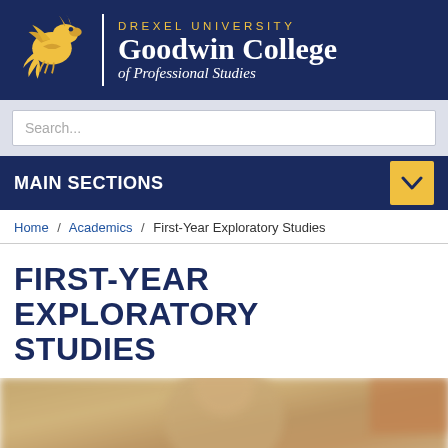[Figure (logo): Drexel University Goodwin College of Professional Studies header logo with gold dragon and white text on navy background]
Search...
MAIN SECTIONS
Home / Academics / First-Year Exploratory Studies
FIRST-YEAR EXPLORATORY STUDIES
[Figure (photo): Blurred photo of a person, partially visible at bottom of page]